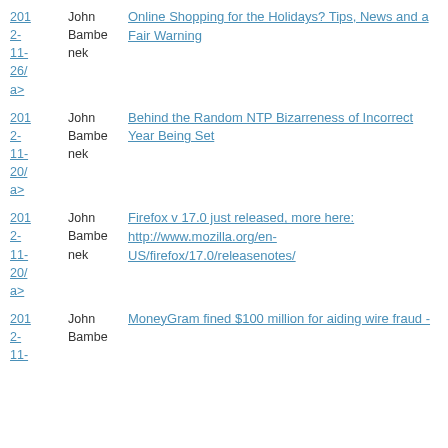2012-11-26/ a> | John Bambenek | Online Shopping for the Holidays? Tips, News and a Fair Warning
2012-11-20/ a> | John Bambenek | Behind the Random NTP Bizarreness of Incorrect Year Being Set
2012-11-20/ a> | John Bambenek | Firefox v 17.0 just released, more here: http://www.mozilla.org/en-US/firefox/17.0/releasenotes/
2012-11- | John Bambenek | MoneyGram fined $100 million for aiding wire fraud -